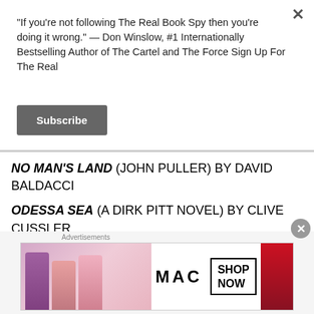“If you’re not following The Real Book Spy then you’re doing it wrong.” — Don Winslow, #1 Internationally Bestselling Author of The Cartel and The Force Sign Up For The Real
Subscribe
NO MAN’S LAND (JOHN PULLER) BY DAVID BALDACCI
ODESSA SEA (A DIRK PITT NOVEL) BY CLIVE CUSSLER
December
[Figure (photo): MAC cosmetics advertisement banner showing lipsticks and SHOP NOW text]